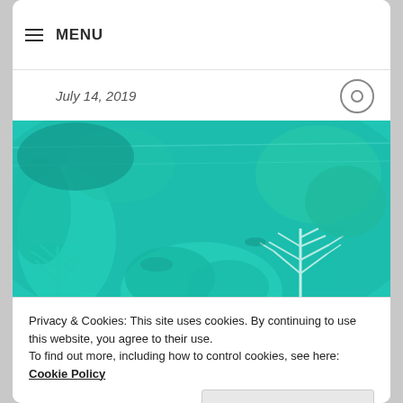≡ MENU
July 14, 2019
[Figure (photo): Underwater photograph of a coral reef with teal/turquoise water, showing coral formations and sea plants]
Privacy & Cookies: This site uses cookies. By continuing to use this website, you agree to their use.
To find out more, including how to control cookies, see here: Cookie Policy
Close and accept